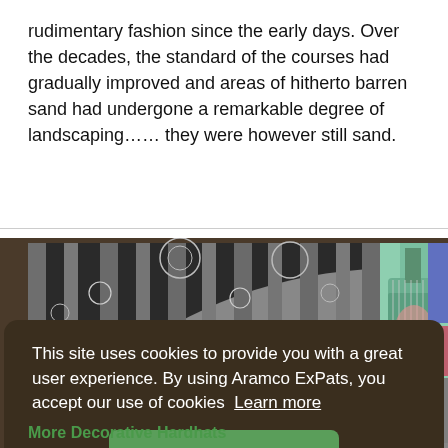rudimentary fashion since the early days. Over the decades, the standard of the courses had gradually improved and areas of hitherto barren sand had undergone a remarkable degree of landscaping...... they were however still sand.
[Figure (photo): Close-up photo of an ornately engraved decorative hardhat dome with intricate floral and geometric patterns in black and silver, with a mint-green electric guitar visible in the upper right background and colorful items on the far right.]
This site uses cookies to provide you with a great user experience. By using Aramco ExPats, you accept our use of cookies Learn more
Got It!
More Decorative Hardhats